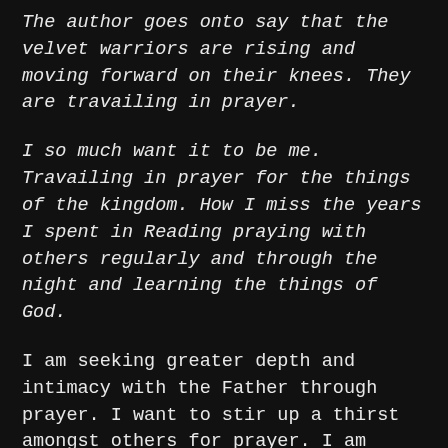The author goes onto say that the velvet warriors are rising and moving forward on their knees. They are travailing in prayer.
I so much want it to be me. Travailing in prayer for the things of the kingdom. How I miss the years I spent in Reading praying with others regularly and through the night and learning the things of God.
I am seeking greater depth and intimacy with the Father through prayer. I want to stir up a thirst amongst others for prayer. I am wanting us to challenge the Lord , to take Father at his word ie He said ‘Those who seek me will find me’. I found him once and will find him again.